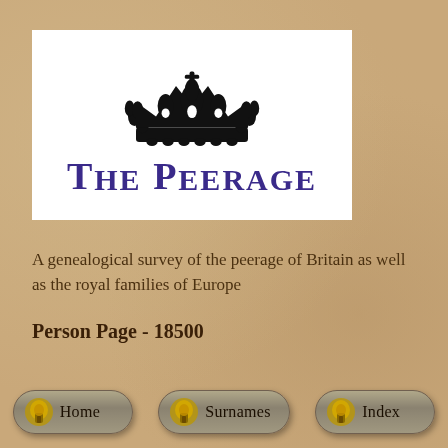[Figure (logo): The Peerage logo: black royal crown above the text 'THE PEERAGE' in bold purple/blue serif font, on white background]
A genealogical survey of the peerage of Britain as well as the royal families of Europe
Person Page - 18500
Home  Surnames  Index